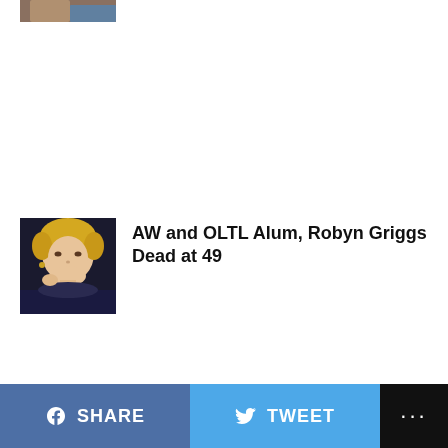[Figure (photo): Partially visible photo of a person at the top of the page]
[Figure (photo): Portrait photo of Robyn Griggs, a blonde woman]
AW and OLTL Alum, Robyn Griggs Dead at 49
SHARE   TWEET   ...